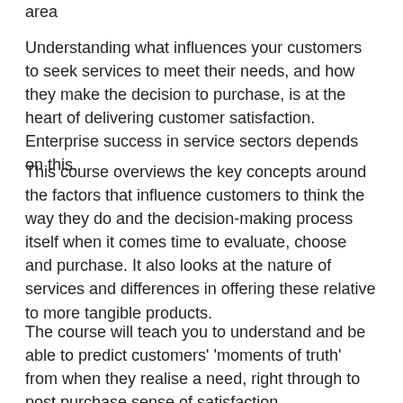area
Understanding what influences your customers to seek services to meet their needs, and how they make the decision to purchase, is at the heart of delivering customer satisfaction. Enterprise success in service sectors depends on this.
This course overviews the key concepts around the factors that influence customers to think the way they do and the decision-making process itself when it comes time to evaluate, choose and purchase. It also looks at the nature of services and differences in offering these relative to more tangible products.
The course will teach you to understand and be able to predict customers' 'moments of truth' from when they realise a need, right through to post purchase sense of satisfaction.